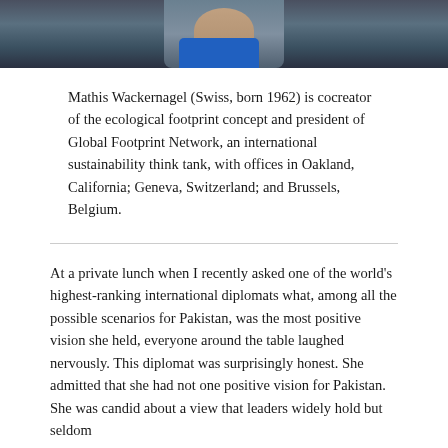[Figure (photo): Partial photo of Mathis Wackernagel, showing upper body, wearing a blue shirt with a colorful tie, dark background]
Mathis Wackernagel (Swiss, born 1962) is cocreator of the ecological footprint concept and president of Global Footprint Network, an international sustainability think tank, with offices in Oakland, California; Geneva, Switzerland; and Brussels, Belgium.
At a private lunch when I recently asked one of the world's highest-ranking international diplomats what, among all the possible scenarios for Pakistan, was the most positive vision she held, everyone around the table laughed nervously. This diplomat was surprisingly honest. She admitted that she had not one positive vision for Pakistan. She was candid about a view that leaders widely hold but seldom